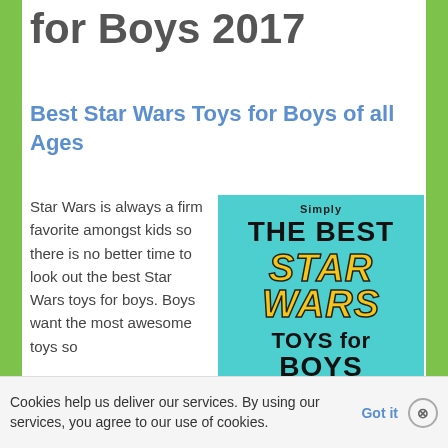for Boys 2017
Best Star Wars Toys for Boys of all Ages
Star Wars is always a firm favorite amongst kids so there is no better time to look out the best Star Wars toys for boys. Boys want the most awesome toys so
[Figure (illustration): Book cover with cyan background showing 'Simply THE BEST STAR WARS TOYS for BOYS' text in bold black and yellow italic lettering]
Cookies help us deliver our services. By using our services, you agree to our use of cookies.
Got it